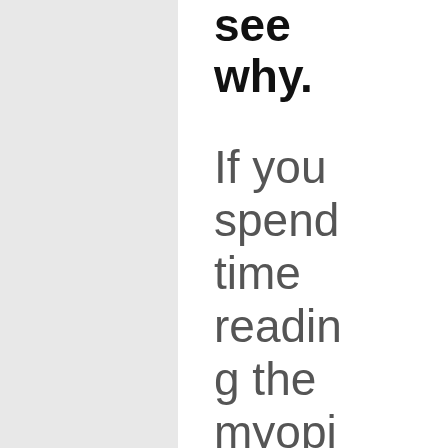see why.
If you spend time reading the myopia blog, you are probab